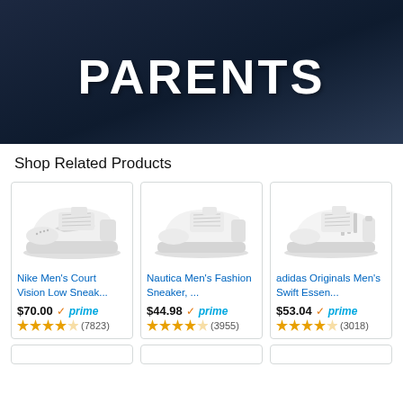[Figure (photo): Dark navy banner with large bold white text reading PARENTS]
Shop Related Products
[Figure (photo): Nike Men's Court Vision Low white sneaker product image]
Nike Men's Court Vision Low Sneak...
$70.00 prime (7823 reviews, 4 stars)
[Figure (photo): Nautica Men's Fashion Sneaker white shoe product image]
Nautica Men's Fashion Sneaker, ...
$44.98 prime (3955 reviews, 4 stars)
[Figure (photo): adidas Originals Men's Swift Essential white sneaker product image]
adidas Originals Men's Swift Essen...
$53.04 prime (3018 reviews, 4 stars)